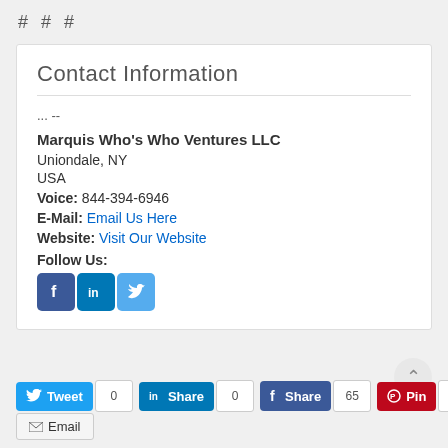# # #
Contact Information
... --
Marquis Who's Who Ventures LLC
Uniondale, NY
USA
Voice: 844-394-6946
E-Mail: Email Us Here
Website: Visit Our Website
Follow Us:
[Figure (logo): Social media icons: Facebook, LinkedIn, Twitter]
Tweet 0 | Share 0 | Share 65 | Pin 0 | Email